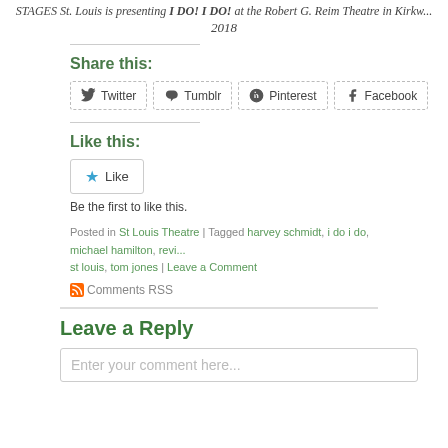STAGES St. Louis is presenting I DO! I DO! at the Robert G. Reim Theatre in Kirkw... 2018
Share this:
Twitter  Tumblr  Pinterest  Facebook
Like this:
★ Like
Be the first to like this.
Posted in St Louis Theatre | Tagged harvey schmidt, i do i do, michael hamilton, revi... st louis, tom jones | Leave a Comment
Comments RSS
Leave a Reply
Enter your comment here...